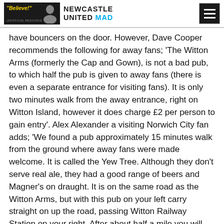"Believe!" NEWCASTLE UNITED MAD
have bouncers on the door. However, Dave Cooper recommends the following for away fans; 'The Witton Arms (formerly the Cap and Gown), is not a bad pub, to which half the pub is given to away fans (there is even a separate entrance for visiting fans). It is only two minutes walk from the away entrance, right on Witton Island, however it does charge £2 per person to gain entry'. Alex Alexander a visiting Norwich City fan adds; 'We found a pub approximately 15 minutes walk from the ground where away fans were made welcome. It is called the Yew Tree. Although they don't serve real ale, they had a good range of beers and Magner's on draught. It is on the same road as the Witton Arms, but with this pub on your left carry straight on up the road, passing Witton Railway Station on your right. After about half a mile you will see the pub on the right hand side'.
If you are looking for something a bit more upmarket,